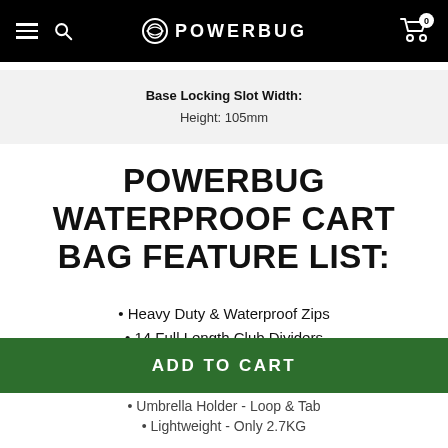POWERBUG navigation header with hamburger, search, logo, and cart
Base Locking Slot Width:
Height: 105mm
POWERBUG WATERPROOF CART BAG FEATURE LIST:
Heavy Duty & Waterproof Zips
14 Full Length Club Dividers
Trolley-Lock Base
7 Water Proof Pockets
Umbrella Holder - Loop & Tab
Lightweight - Only 2.7KG